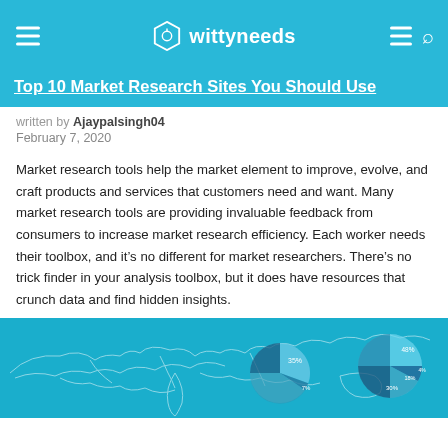wittyneeds
Top 10 Market Research Sites You Should Use
written by Ajaypalsingh04
February 7, 2020
Market research tools help the market element to improve, evolve, and craft products and services that customers need and want. Many market research tools are providing invaluable feedback from consumers to increase market research efficiency. Each worker needs their toolbox, and it’s no different for market researchers. There’s no trick finder in your analysis toolbox, but it does have resources that crunch data and find hidden insights.
[Figure (infographic): Infographic on a teal/blue background showing a world map outline and pie charts with percentages including 35%, 7%, 48%, and other values related to market research data.]